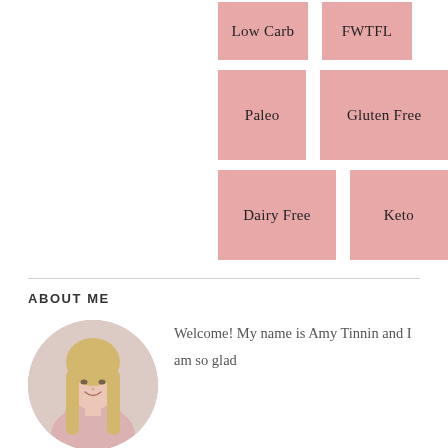Low Carb
FWTFL
Paleo
Gluten Free
Dairy Free
Keto
ABOUT ME
[Figure (photo): Circular profile photo of a smiling blonde woman wearing a pink floral outfit]
Welcome! My name is Amy Tinnin and I am so glad you are here! A Cup Full of Sass is a place where I share Fashion,